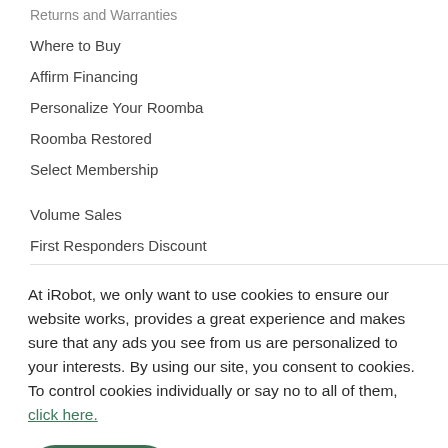Returns and Warranties
Where to Buy
Affirm Financing
Personalize Your Roomba
Roomba Restored
Select Membership
Volume Sales
First Responders Discount
At iRobot, we only want to use cookies to ensure our website works, provides a great experience and makes sure that any ads you see from us are personalized to your interests. By using our site, you consent to cookies. To control cookies individually or say no to all of them, click here.
Accept
Privacy Policy